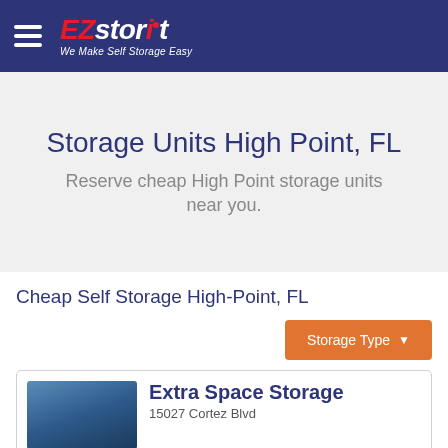EZstorit — We Make Self Storage Easy
Storage Units High Point, FL
Reserve cheap High Point storage units near you.
Cheap Self Storage High-Point, FL
Storage Type
Extra Space Storage
15027 Cortez Blvd